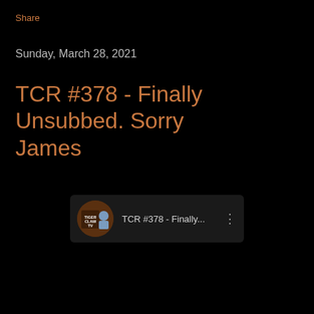Share
Sunday, March 28, 2021
TCR #378 - Finally Unsubbed. Sorry James
[Figure (screenshot): YouTube-style card showing Tiger Claw TV channel icon and title 'TCR #378 - Finally...' with a three-dot menu icon]